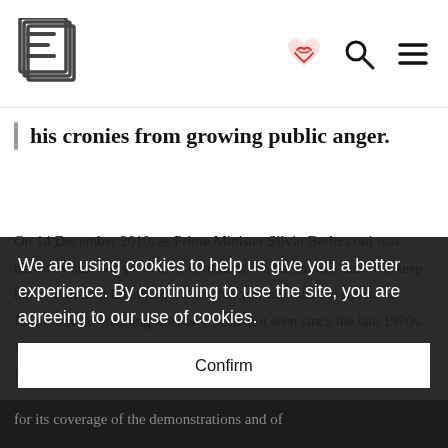E logo | heart icon | search icon | menu icon
his cronies from growing public anger.
On 14 December 2010, as Prime Minister Silvio Berlusconi was narrowly surviving a vote of confidence in parliament that will keep his government breathing for another few months, the streets of Rome were witnessing riots on a scale not seen since the late 1970s. While the disturbances were reported on the basis of the television footage of clashes…
We are using cookies to help us give you a better experience. By continuing to use the site, you are agreeing to our use of cookies.
Confirm
for its coverage of the demonstrations and of